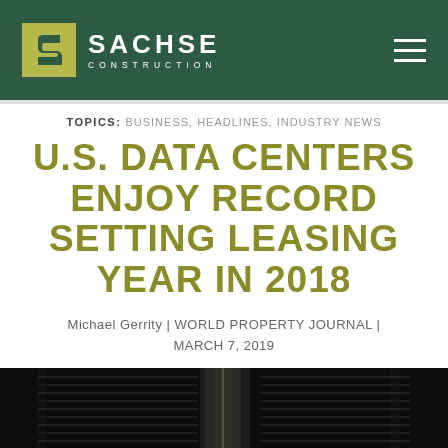SACHSE CONSTRUCTION
TOPICS: BUSINESS, HEADLINES, INDUSTRY NEWS
U.S. DATA CENTERS ENJOY RECORD SETTING LEASING YEAR IN 2018
Michael Gerrity | WORLD PROPERTY JOURNAL | MARCH 7, 2019
[Figure (photo): Dark photo of server racks in a data center]